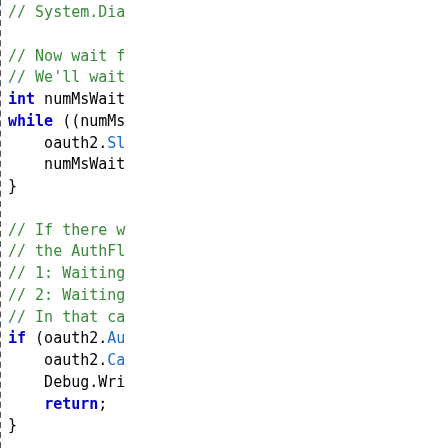[Figure (screenshot): Source code listing showing C# OAuth2 code snippet with comments and control flow (while loop, if statements). Left portion is blank white. Right portion shows code with green comments and blue keywords, separated by a dashed vertical line.]